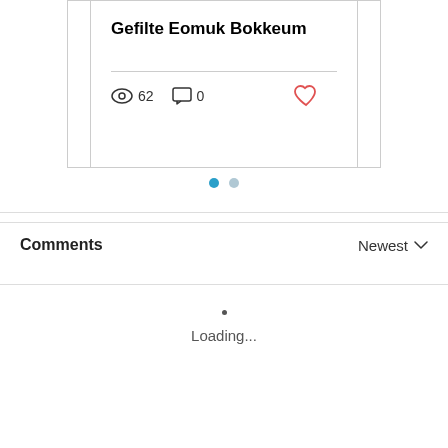Gefilte Eomuk Bokkeum
62 views  0 comments
[Figure (infographic): Pagination indicator with two dots: first dot filled blue (active), second dot gray (inactive)]
Comments
Newest
Loading...